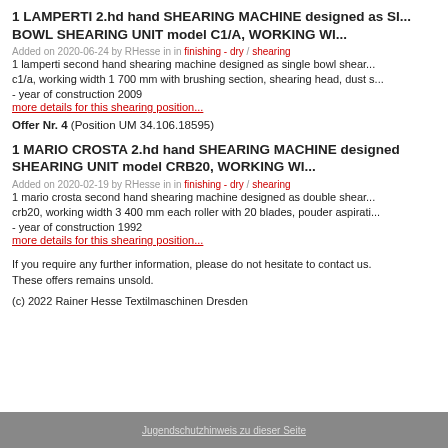1 LAMPERTI 2.hd hand SHEARING MACHINE designed as SINGLE BOWL SHEARING UNIT model C1/A, WORKING WI...
Added on 2020-06-24 by RHesse in in finishing - dry / shearing
1 lamperti second hand shearing machine designed as single bowl shearing unit model c1/a, working width 1 700 mm with brushing section, shearing head, dust s...
- year of construction 2009
more details for this shearing position...
Offer Nr. 4 (Position UM 34.106.18595)
1 MARIO CROSTA 2.hd hand SHEARING MACHINE designed as DOUBLE SHEARING UNIT model CRB20, WORKING WI...
Added on 2020-02-19 by RHesse in in finishing - dry / shearing
1 mario crosta second hand shearing machine designed as double shearing unit model crb20, working width 3 400 mm each roller with 20 blades, pouder aspirati...
- year of construction 1992
more details for this shearing position...
If you require any further information, please do not hesitate to contact us.
These offers remains unsold.
(c) 2022 Rainer Hesse Textilmaschinen Dresden
Jugendschutzhinweis zu dieser Seite